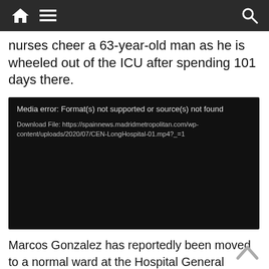Navigation bar with home, menu, and search icons
nurses cheer a 63-year-old man as he is wheeled out of the ICU after spending 101 days there.
[Figure (screenshot): Media player error box with black background showing: 'Media error: Format(s) not supported or source(s) not found' and 'Download File: https://spainnews.madridmetropolitan.com/wp-content/uploads/2020/07/CEN-LongHospital-01.mp4?_=1']
Marcos Gonzalez has reportedly been moved to a normal ward at the Hospital General Universitario de Alicante in the eastern Spanish region of Valencia after being admitted on 20th March.